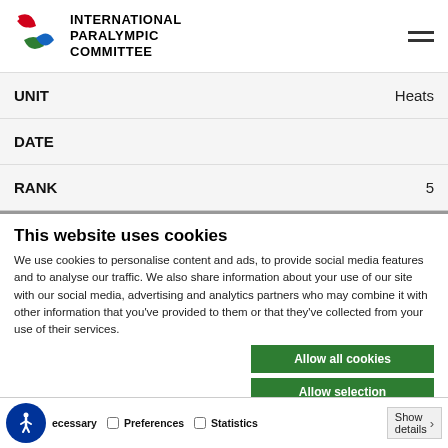International Paralympic Committee
| Field | Value |
| --- | --- |
| UNIT | Heats |
| DATE |  |
| RANK | 5 |
This website uses cookies
We use cookies to personalise content and ads, to provide social media features and to analyse our traffic. We also share information about your use of our site with our social media, advertising and analytics partners who may combine it with other information that you've provided to them or that they've collected from your use of their services.
Allow all cookies
Allow selection
Use necessary cookies only
Necessary | Preferences | Statistics | Marketing | Show details